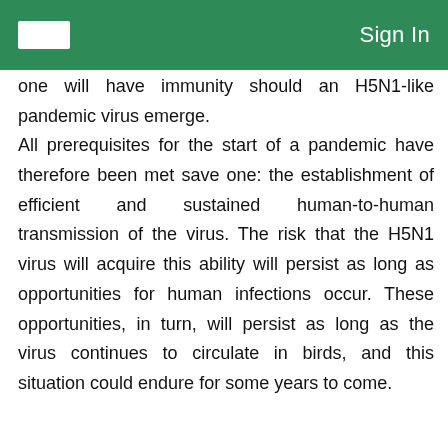Sign In
one will have immunity should an H5N1-like pandemic virus emerge. All prerequisites for the start of a pandemic have therefore been met save one: the establishment of efficient and sustained human-to-human transmission of the virus. The risk that the H5N1 virus will acquire this ability will persist as long as opportunities for human infections occur. These opportunities, in turn, will persist as long as the virus continues to circulate in birds, and this situation could endure for some years to come.